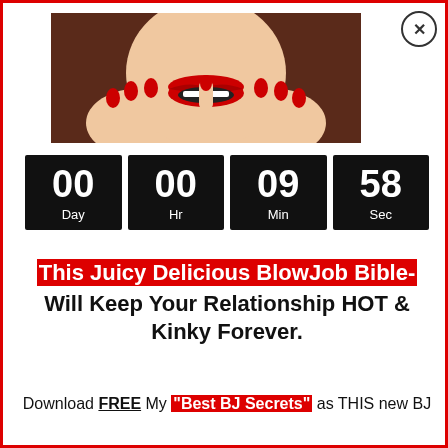[Figure (illustration): Illustration of a woman with red lips and red nail polish, hands near face, dark brown background]
00 Day  00 Hr  09 Min  58 Sec
This Juicy Delicious BlowJob Bible- Will Keep Your Relationship HOT & Kinky Forever.
Download FREE My "Best BJ Secrets" as THIS new BJ